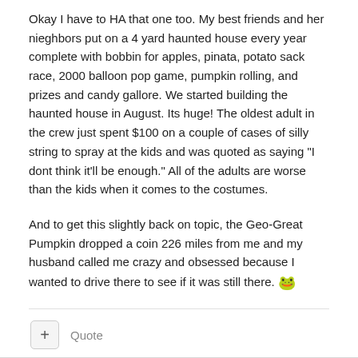Okay I have to HA that one too. My best friends and her nieghbors put on a 4 yard haunted house every year complete with bobbin for apples, pinata, potato sack race, 2000 balloon pop game, pumpkin rolling, and prizes and candy gallore. We started building the haunted house in August. Its huge! The oldest adult in the crew just spent $100 on a couple of cases of silly string to spray at the kids and was quoted as saying "I dont think it'll be enough." All of the adults are worse than the kids when it comes to the costumes.
And to get this slightly back on topic, the Geo-Great Pumpkin dropped a coin 226 miles from me and my husband called me crazy and obsessed because I wanted to drive there to see if it was still there. 🐸
+ Quote
+keewee Posted October 10, 2007